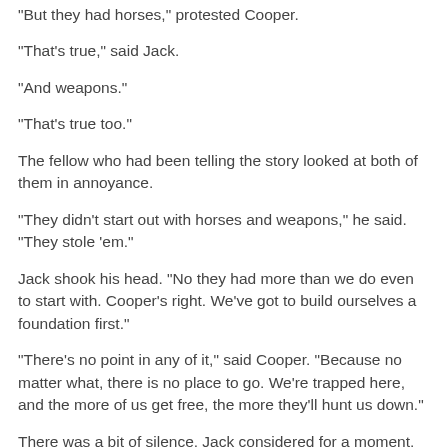"But they had horses," protested Cooper.
"That's true," said Jack.
"And weapons."
"That's true too."
The fellow who had been telling the story looked at both of them in annoyance.
"They didn't start out with horses and weapons," he said. "They stole 'em."
Jack shook his head.  "No they had more than we do even to start with.  Cooper's right.  We've got to build ourselves a foundation first."
"There's no point in any of it," said Cooper.  "Because no matter what, there is no place to go.  We're trapped here, and the more of us get free, the more they'll hunt us down."
There was a bit of silence.  Jack considered for a moment.